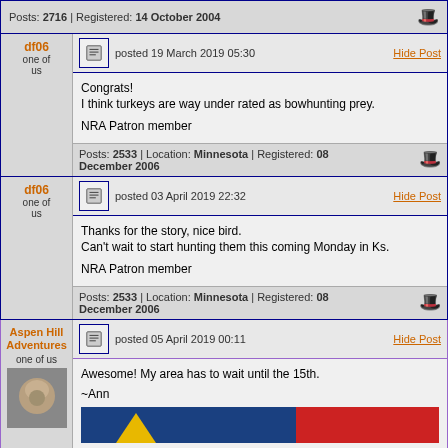Posts: 2716 | Registered: 14 October 2004
df06
one of us
posted 19 March 2019 05:30
Congrats!
I think turkeys are way under rated as bowhunting prey.

NRA Patron member

Posts: 2533 | Location: Minnesota | Registered: 08 December 2006
df06
one of us
posted 03 April 2019 22:32
Thanks for the story, nice bird.
Can't wait to start hunting them this coming Monday in Ks.

NRA Patron member

Posts: 2533 | Location: Minnesota | Registered: 08 December 2006
Aspen Hill Adventures
one of us
posted 05 April 2019 00:11
Awesome! My area has to wait until the 15th.

~Ann